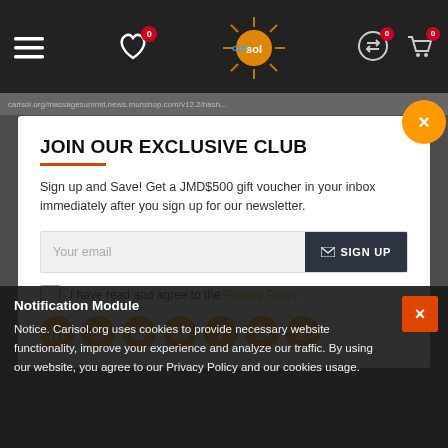[Figure (screenshot): Website navigation bar with hamburger menu, heart icon with badge 0, sun logo, exchange icon with badge 0, and cart icon with badge 0 on dark background]
https://massagesummit.news.munshop.com/12.2/hash
JOIN OUR EXCLUSIVE CLUB
Sign up and Save! Get a JMD$500 gift voucher in your inbox immediately after you sign up for our newsletter.
Your email  SIGN UP
I have read and agree to the Privacy Policy
[Figure (illustration): Row of 7 orange circle social media icons: LinkedIn, another, Twitter, YouTube, Facebook, another, Instagram]
Notification Module
Notice. Carisol.org uses cookies to provide necessary website functionality, improve your experience and analyze our traffic. By using our website, you agree to our Privacy Policy and our cookies usage.